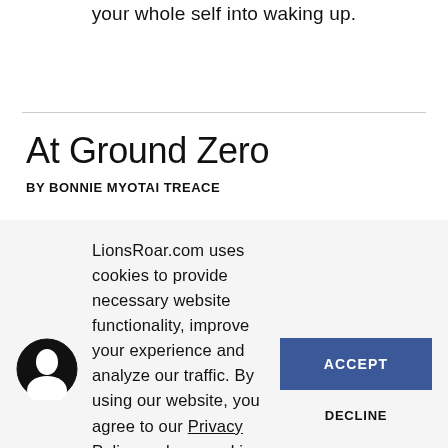your whole self into waking up.
At Ground Zero
BY BONNIE MYOTAI TREACE
LionsRoar.com uses cookies to provide necessary website functionality, improve your experience and analyze our traffic. By using our website, you agree to our Privacy Policy and our cookies usage.
[Figure (illustration): Circular icon with a silhouette of a person's profile in black and white]
ACCEPT
DECLINE